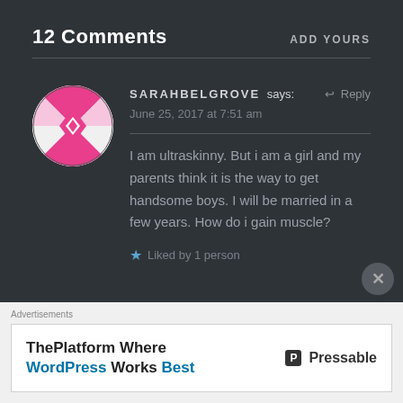12 Comments
ADD YOURS
[Figure (illustration): Pink and white geometric avatar icon for user sarahbelgrove]
SARAHBELGROVE says: ↩ Reply
June 25, 2017 at 7:51 am
I am ultraskinny. But i am a girl and my parents think it is the way to get handsome boys. I will be married in a few years. How do i gain muscle?
★ Liked by 1 person
Advertisements
ThePlatform Where WordPress Works Best — Pressable